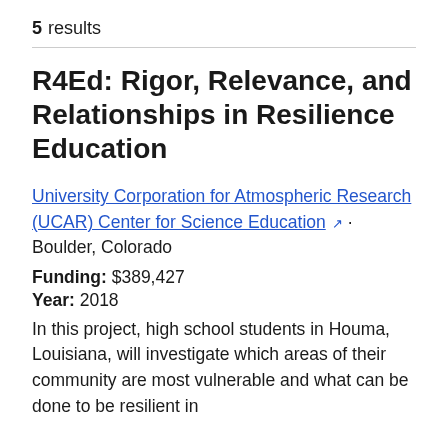5 results
R4Ed: Rigor, Relevance, and Relationships in Resilience Education
University Corporation for Atmospheric Research (UCAR) Center for Science Education · Boulder, Colorado
Funding: $389,427
Year: 2018
In this project, high school students in Houma, Louisiana, will investigate which areas of their community are most vulnerable and what can be done to be resilient in